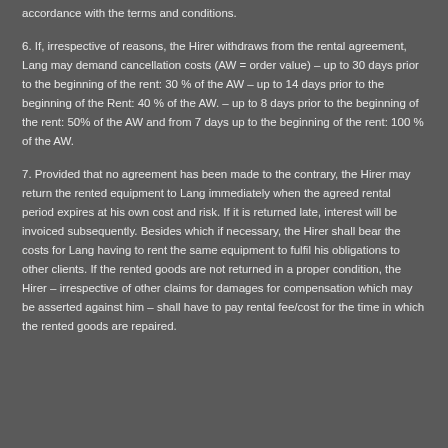accordance with the terms and conditions.
6. If, irrespective of reasons, the Hirer withdraws from the rental agreement, Lang may demand cancellation costs (AW = order value) – up to 30 days prior to the beginning of the rent: 30 % of the AW – up to 14 days prior to the beginning of the Rent: 40 % of the AW. – up to 8 days prior to the beginning of the rent: 50% of the AW and from 7 days up to the beginning of the rent: 100 % of the AW.
7. Provided that no agreement has been made to the contrary, the Hirer may return the rented equipment to Lang immediately when the agreed rental period expires at his own cost and risk. If it is returned late, interest will be invoiced subsequently. Besides which if necessary, the Hirer shall bear the costs for Lang having to rent the same equipment to fulfil his obligations to other clients. If the rented goods are not returned in a proper condition, the Hirer – irrespective of other claims for damages for compensation which may be asserted against him – shall have to pay rental fee/cost for the time in which the rented goods are repaired.